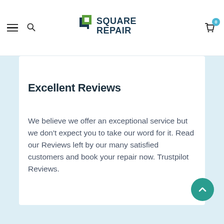Square Repair — navigation header with hamburger menu, search icon, logo, and cart (0 items)
Excellent Reviews
We believe we offer an exceptional service but we don't expect you to take our word for it. Read our Reviews left by our many satisfied customers and book your repair now. Trustpilot Reviews.